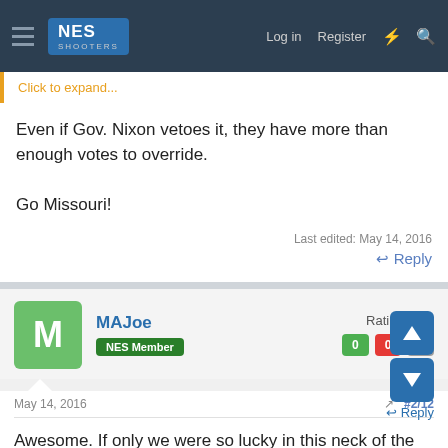NES Shooters — Log in  Register
Click to expand...
Even if Gov. Nixon vetoes it, they have more than enough votes to override.

Go Missouri!
Last edited: May 14, 2016
Reply
MAJoe
NES Member
Rating - 0%
0  0  0
May 14, 2016  #2/12
Awesome. If only we were so lucky in this neck of the woods.
Reply